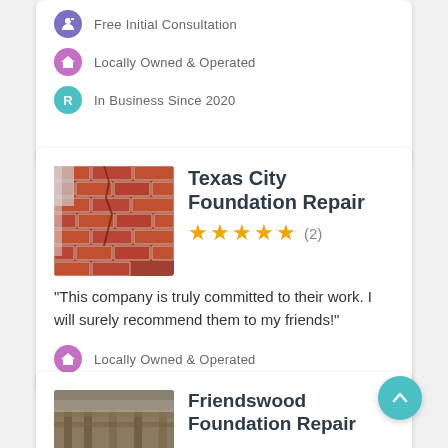Free Initial Consultation
Locally Owned & Operated
In Business Since 2020
Texas City Foundation Repair
★★★★★ (2)
“This company is truly committed to their work. I will surely recommend them to my friends!”
Locally Owned & Operated
In Business Since 2018
Friendswood Foundation Repair